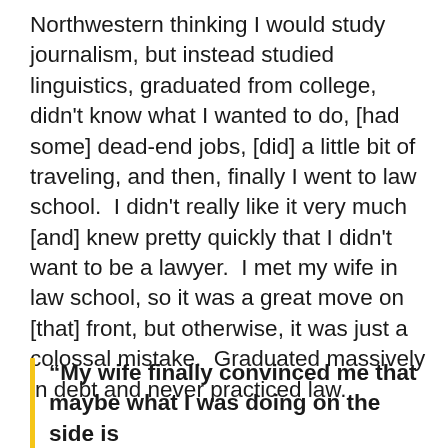Northwestern thinking I would study journalism, but instead studied linguistics, graduated from college, didn't know what I wanted to do, [had some] dead-end jobs, [did] a little bit of traveling, and then, finally I went to law school.  I didn't really like it very much [and] knew pretty quickly that I didn't want to be a lawyer.  I met my wife in law school, so it was a great move on [that] front, but otherwise, it was just a colossal mistake.  Graduated massively in debt and never practiced law.
“My wife finally convinced me that maybe what I was doing on the side is